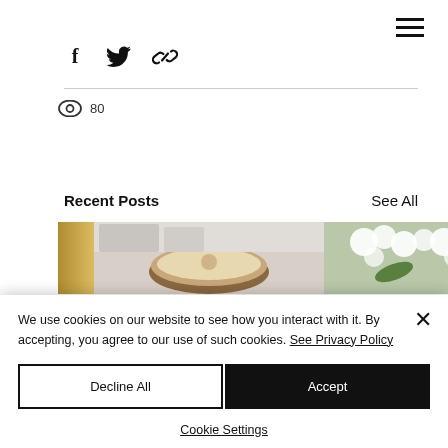[Figure (other): Social share icons: Facebook, Twitter, and link/chain icon]
80 views
Recent Posts
See All
[Figure (photo): Strip of food and nature photos: butter/cheese, cream soup in bowl, white flowers, dark background]
We use cookies on our website to see how you interact with it. By accepting, you agree to our use of such cookies. See Privacy Policy
Decline All
Accept
Cookie Settings